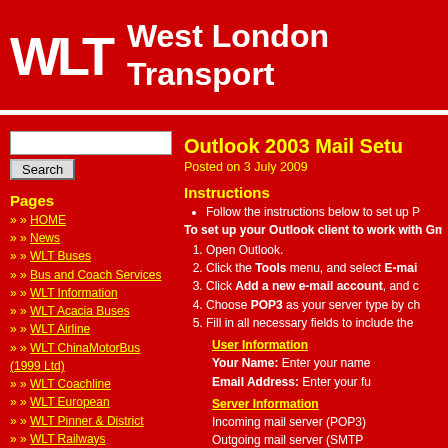WLT West London Transport
Outlook 2003 Mail Setu
Posted on 3 July 2009
Instructions
Follow the instructions below to set up P
To set up your Outlook client to work with Gm
1. Open Outlook.
2. Click the Tools menu, and select E-mai
3. Click Add a new e-mail account, and c
4. Choose POP3 as your server type by ch
5. Fill in all necessary fields to include the
User Information
Your Name: Enter your name
Email Address: Enter your fu
Server Information
Incoming mail server (POP3)
Outgoing mail server (SMTP
Login Information
User Name: Enter your Gm
Pages
HOME
News
WLT Buses
Bus and Coach Services
WLT Information
WLT Acacia Buses
WLT Airline
WLT ChinaMotorBus (1999 Ltd)
WLT Coachline
WLT European
WLT Pinner & District
WLT Railways
WLT Smith's
WLT Superbus
Manchester CityBus
Watford Transport
Archives